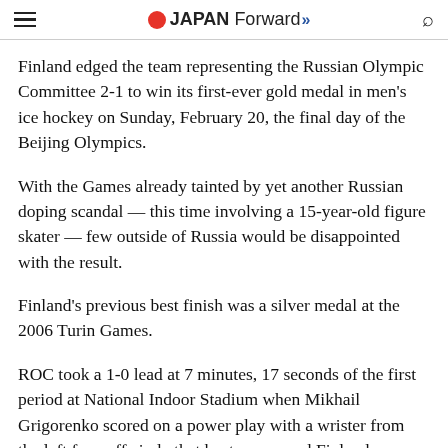JAPAN Forward
Finland edged the team representing the Russian Olympic Committee 2-1 to win its first-ever gold medal in men's ice hockey on Sunday, February 20, the final day of the Beijing Olympics.
With the Games already tainted by yet another Russian doping scandal — this time involving a 15-year-old figure skater — few outside of Russia would be disappointed with the result.
Finland's previous best finish was a silver medal at the 2006 Turin Games.
ROC took a 1-0 lead at 7 minutes, 17 seconds of the first period at National Indoor Stadium when Mikhail Grigorenko scored on a power play with a wrister from the left face-off circle that beat a screened Finland